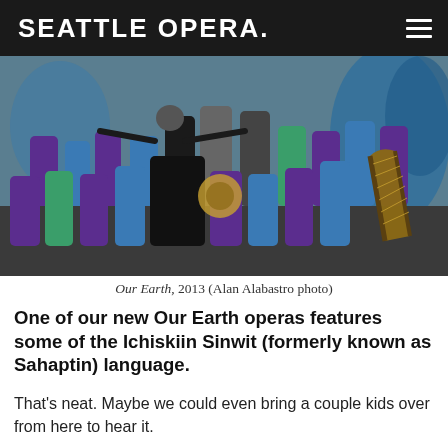SEATTLE OPERA.
[Figure (photo): Group of children and adults in costumes on a stage performing an opera, with a harp in the foreground and colorful blue/teal set design in the background. Performers are singing and acting expressively.]
Our Earth, 2013 (Alan Alabastro photo)
One of our new Our Earth operas features some of the Ichiskiin Sinwit (formerly known as Sahaptin) language.
That's neat. Maybe we could even bring a couple kids over from here to hear it.